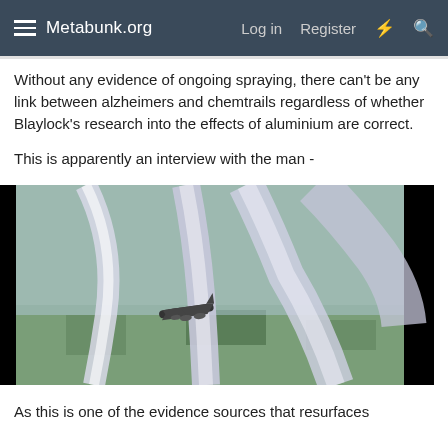Metabunk.org  Log in  Register
Without any evidence of ongoing spraying, there can't be any link between alzheimers and chemtrails regardless of whether Blaylock's research into the effects of aluminium are correct.
This is apparently an interview with the man -
[Figure (photo): Aerial view of a large aircraft with multiple contrails/chemtrails spreading across the sky above a landscape, image appears to be from a video screenshot]
As this is one of the evidence sources that resurfaces